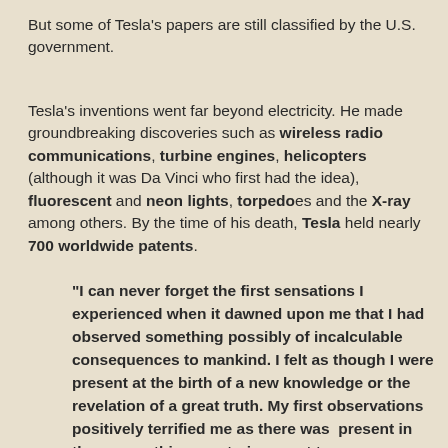But some of Tesla's papers are still classified by the U.S. government.
Tesla's inventions went far beyond electricity. He made groundbreaking discoveries such as wireless radio communications, turbine engines, helicopters (although it was Da Vinci who first had the idea), fluorescent and neon lights, torpedoes and the X-ray among others. By the time of his death, Tesla held nearly 700 worldwide patents.
“I can never forget the first sensations I experienced when it dawned upon me that I had observed something possibly of incalculable consequences to mankind. I felt as though I were present at the birth of a new knowledge or the revelation of a great truth. My first observations positively terrified me as there was  present in them something mysterious, not to say supernatural, and I was alone in my laboratory at night; but at that time the idea of  these disturbances